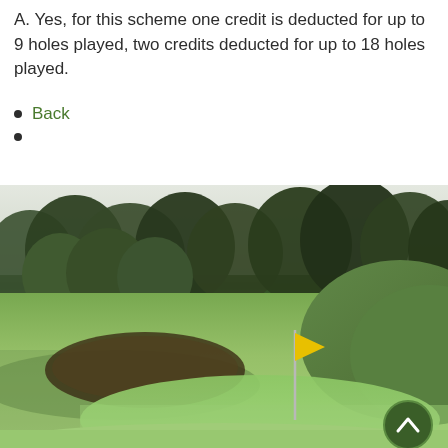A. Yes, for this scheme one credit is deducted for up to 9 holes played, two credits deducted for up to 18 holes played.
Back
[Figure (photo): Photograph of a golf course showing a putting green with a yellow flag, sand bunker, lush green fairway, and trees in the background under an overcast sky. A back-to-top button (dark green circle with upward chevron) is visible in the bottom-right corner.]